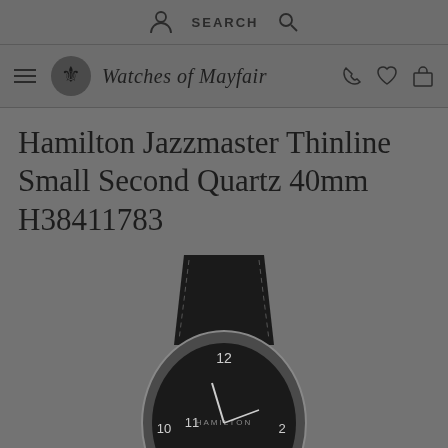SEARCH
Watches of Mayfair
Hamilton Jazzmaster Thinline Small Second Quartz 40mm H38411783
[Figure (photo): Hamilton Jazzmaster Thinline watch with black dial and black leather strap, shown from above, cropped at bottom of page]